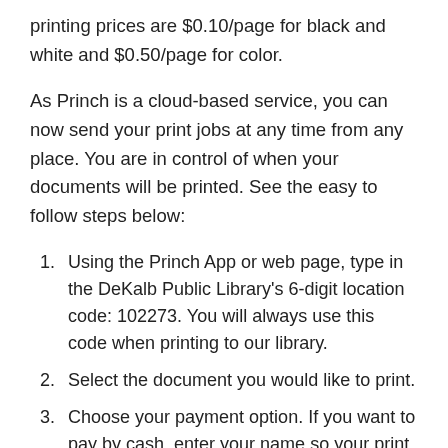printing prices are $0.10/page for black and white and $0.50/page for color.
As Princh is a cloud-based service, you can now send your print jobs at any time from any place. You are in control of when your documents will be printed. See the easy to follow steps below:
Using the Princh App or web page, type in the DeKalb Public Library's 6-digit location code: 102273. You will always use this code when printing to our library.
Select the document you would like to print.
Choose your payment option. If you want to pay by cash, enter your name so your print job can be identified later.
Come to the DeKalb Public Library's tech desk within the next 24 hours.